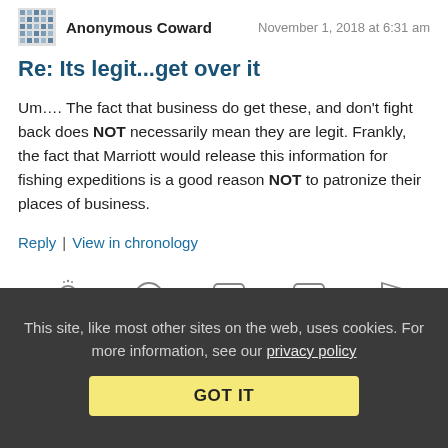Anonymous Coward   November 1, 2018 at 6:31 am
Re: Its legit...get over it
Um…. The fact that business do get these, and don't fight back does NOT necessarily mean they are legit. Frankly, the fact that Marriott would release this information for fishing expeditions is a good reason NOT to patronize their places of business.
Reply | View in chronology
[Figure (infographic): Row of 5 reaction/action icons: lightbulb, laughing face, quote bubble (66), quote bubble (99), flag]
[Figure (infographic): Comment icon with [2] label]
This site, like most other sites on the web, uses cookies. For more information, see our privacy policy   GOT IT